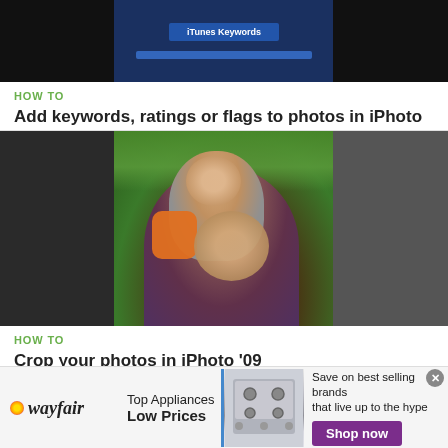[Figure (screenshot): Partial screenshot of a software tutorial thumbnail, dark background with blue-highlighted interface element visible]
HOW TO
Add keywords, ratings or flags to photos in iPhoto '09
[Figure (photo): Photo of a smiling child on the back of a smiling adult, outdoors with green foliage background]
HOW TO
Crop your photos in iPhoto '09
[Figure (other): Wayfair advertisement banner: Top Appliances Low Prices, with stove image and Shop now button]